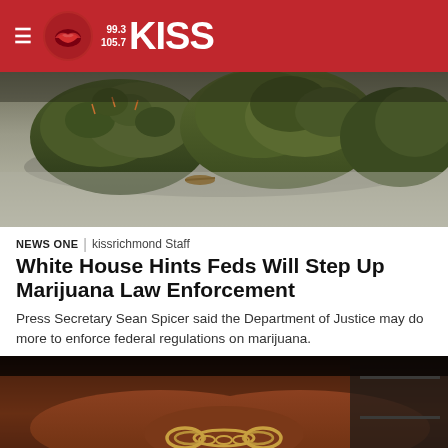99.3 / 105.7 KISS
[Figure (photo): Close-up photo of marijuana buds on a grey concrete surface]
NEWS ONE | kissrichmond Staff
White House Hints Feds Will Step Up Marijuana Law Enforcement
Press Secretary Sean Spicer said the Department of Justice may do more to enforce federal regulations on marijuana.
[Figure (photo): Photo of a person's hands in handcuffs behind their back]